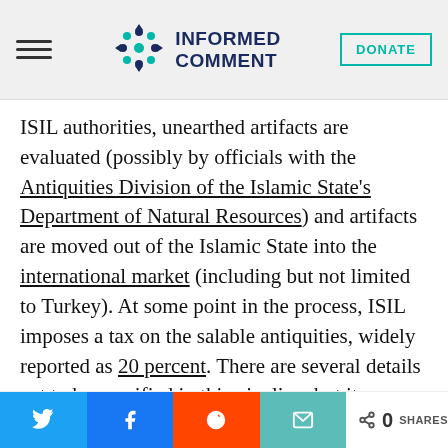INFORMED COMMENT
ISIL authorities, unearthed artifacts are evaluated (possibly by officials with the Antiquities Division of the Islamic State's Department of Natural Resources) and artifacts are moved out of the Islamic State into the international market (including but not limited to Turkey). At some point in the process, ISIL imposes a tax on the salable antiquities, widely reported as 20 percent. There are several details yet to be specified in this pipeline, but it provides a basic
Share buttons: Twitter, Facebook, Reddit, Email | 0 SHARES